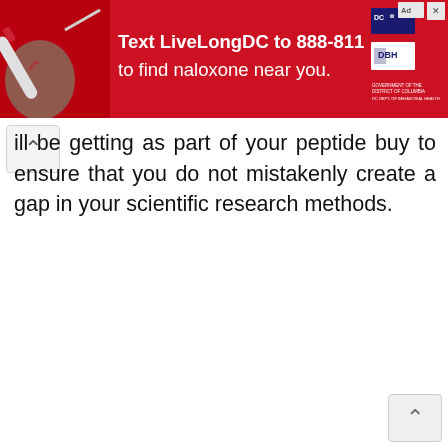[Figure (infographic): Red advertisement banner with syringe/naloxone image on left, bold white text 'Text LiveLongDC to 888-811 to find naloxone near you.' in center, and DC/DBH government logos on right. Includes ad close button and ad indicator icon.]
ill be getting as part of your peptide buy to ensure that you do not mistakenly create a gap in your scientific research methods.